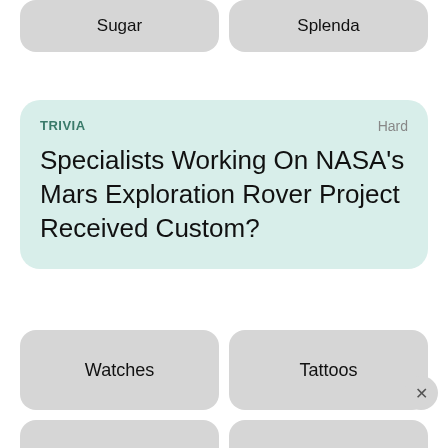Sugar
Splenda
TRIVIA
Hard
Specialists Working On NASA's Mars Exploration Rover Project Received Custom?
Watches
Tattoos
Nerve Implants
Smart Glasses